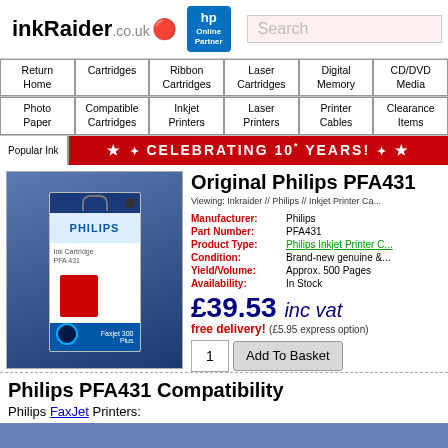[Figure (logo): inkRaider.co.uk logo with HP Online Partner badge]
Search
Return Home | Cartridges | Ribbon Cartridges | Laser Cartridges | Digital Memory | CD/DVD Media | Photo Paper | Compatible Cartridges | Inkjet Printers | Laser Printers | Printer Cables | Clearance Items
Popular Ink ★ ✦ CELEBRATING 10 YEARS! ✦ ★
[Figure (photo): Philips PFA431 ink cartridge product box image]
Original Philips PFA431
Viewing: Inkraider // Philips // Inkjet Printer Ca...
| Field | Value |
| --- | --- |
| Manufacturer: | Philips |
| Part Number: | PFA431 |
| Product Type: | Philips Inkjet Printer C... |
| Condition: | Brand-new genuine &... |
| Yield/Volume: | Approx. 500 Pages |
| Availability: | In Stock |
£39.53 inc vat
free delivery! (£5.95 express option)
1   Add To Basket
Philips PFA431 Compatibility
Philips FaxJet Printers: